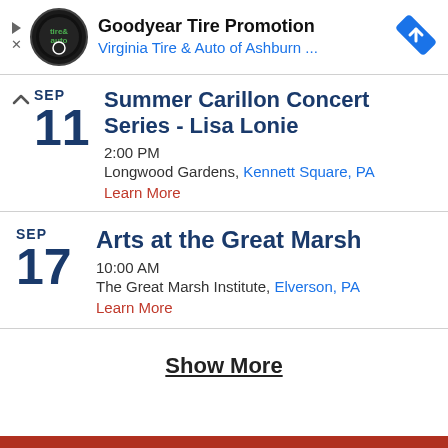[Figure (screenshot): Ad banner for Goodyear Tire Promotion by Virginia Tire & Auto of Ashburn, with circular logo and blue navigation diamond icon]
Summer Carillon Concert Series - Lisa Lonie
2:00 PM
Longwood Gardens, Kennett Square, PA
Learn More
Arts at the Great Marsh
10:00 AM
The Great Marsh Institute, Elverson, PA
Learn More
Show More